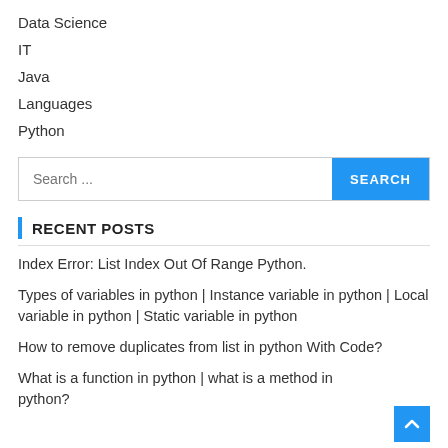Data Science
IT
Java
Languages
Python
Search ...
RECENT POSTS
Index Error: List Index Out Of Range Python.
Types of variables in python | Instance variable in python | Local variable in python | Static variable in python
How to remove duplicates from list in python With Code?
What is a function in python | what is a method in python?